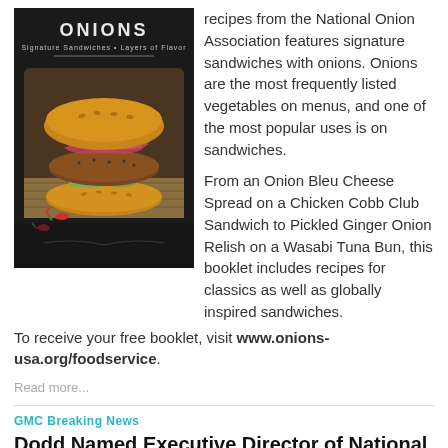[Figure (photo): Book cover showing a gourmet burger with pickled red onions on top, titled 'ONIONS Signature Sandwiches - Layers of Flavor' on a dark chalkboard-style background]
recipes from the National Onion Association features signature sandwiches with onions. Onions are the most frequently listed vegetables on menus, and one of the most popular uses is on sandwiches.
From an Onion Bleu Cheese Spread on a Chicken Cobb Club Sandwich to Pickled Ginger Onion Relish on a Wasabi Tuna Bun, this booklet includes recipes for classics as well as globally inspired sandwiches.
To receive your free booklet, visit www.onions-usa.org/foodservice.
Read more...
GMC Breaking News
Dodd Named Executive Director of National